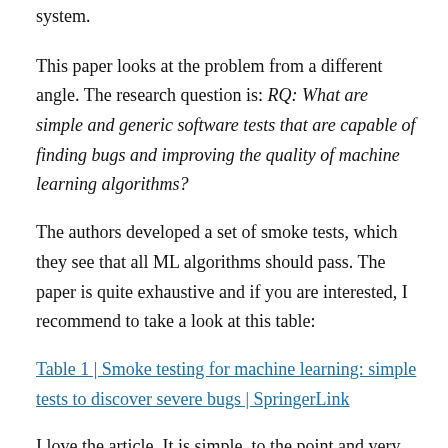system.
This paper looks at the problem from a different angle. The research question is: RQ: What are simple and generic software tests that are capable of finding bugs and improving the quality of machine learning algorithms?
The authors developed a set of smoke tests, which they see that all ML algorithms should pass. The paper is quite exhaustive and if you are interested, I recommend to take a look at this table:
Table 1 | Smoke testing for machine learning: simple tests to discover severe bugs | SpringerLink
I love the article. It is simple, to the point and very applied. I'm going to use that in my tests of ML algorithms in the